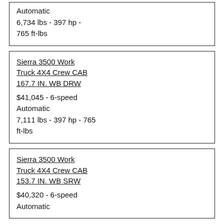Automatic
6,734 lbs - 397 hp - 765 ft-lbs
Sierra 3500 Work Truck 4X4 Crew CAB 167.7 IN. WB DRW
$41,045 - 6-speed Automatic
7,111 lbs - 397 hp - 765 ft-lbs
Sierra 3500 Work Truck 4X4 Crew CAB 153.7 IN. WB SRW
$40,320 - 6-speed Automatic